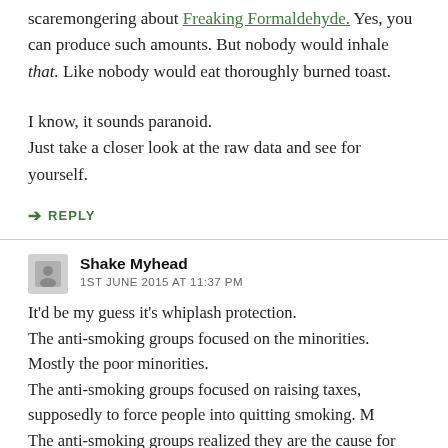scaremongering about Freaking Formaldehyde. Yes, you can produce such amounts. But nobody would inhale that. Like nobody would eat thoroughly burned toast.
I know, it sounds paranoid.
Just take a closer look at the raw data and see for yourself.
↪ REPLY
Shake Myhead
1ST JUNE 2015 AT 11:37 PM
It'd be my guess it's whiplash protection.
The anti-smoking groups focused on the minorities.
Mostly the poor minorities.
The anti-smoking groups focused on raising taxes, supposedly to force people into quitting smoking. M
The anti-smoking groups realized they are the cause for